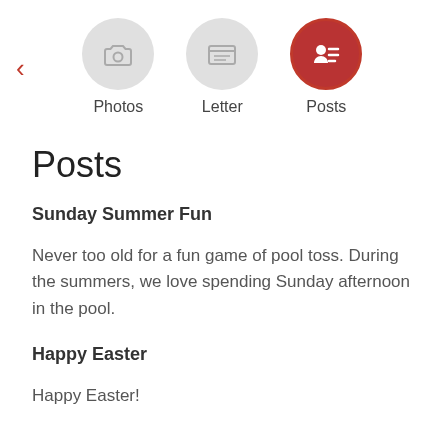[Figure (screenshot): Navigation bar with back arrow and three icon tabs: Photos (camera icon, inactive), Letter (envelope icon, inactive), Posts (ID card icon, active/highlighted in dark red)]
Posts
Sunday Summer Fun
Never too old for a fun game of pool toss. During the summers, we love spending Sunday afternoon in the pool.
Happy Easter
Happy Easter!